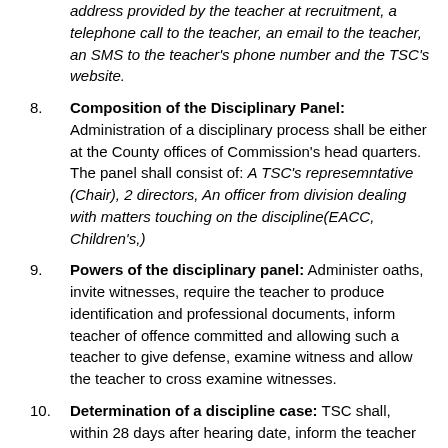address provided by the teacher at recruitment, a telephone call to the teacher, an email to the teacher, an SMS to the teacher's phone number and the TSC's website.
Composition of the Disciplinary Panel: Administration of a disciplinary process shall be either at the County offices of Commission's head quarters. The panel shall consist of: A TSC's represemntative (Chair), 2 directors, An officer from division dealing with matters touching on the discipline(EACC, Children's,)
Powers of the disciplinary panel: Administer oaths, invite witnesses, require the teacher to produce identification and professional documents, inform teacher of offence committed and allowing such a teacher to give defense, examine witness and allow the teacher to cross examine witnesses.
Determination of a discipline case: TSC shall, within 28 days after hearing date, inform the teacher of its decision regarding the disciplinary case and give adequate reasons for decision arrived at.
Administering disciplinary action: The TSC, after hearing